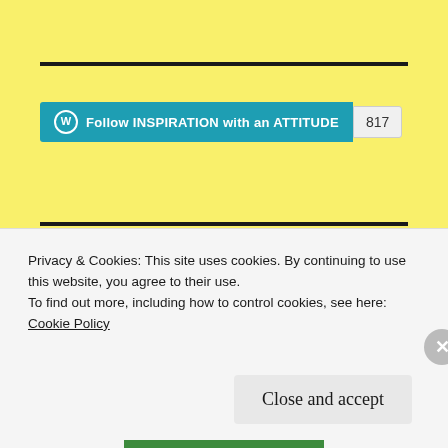[Figure (other): WordPress Follow button widget showing 'Follow INSPIRATION with an ATTITUDE' with follower count 817]
FOLLOW BLOG VIA EMAIL
Enter your email address to follow this blog and receive notifications of new posts by email.
Privacy & Cookies: This site uses cookies. By continuing to use this website, you agree to their use.
To find out more, including how to control cookies, see here:
Cookie Policy
Close and accept